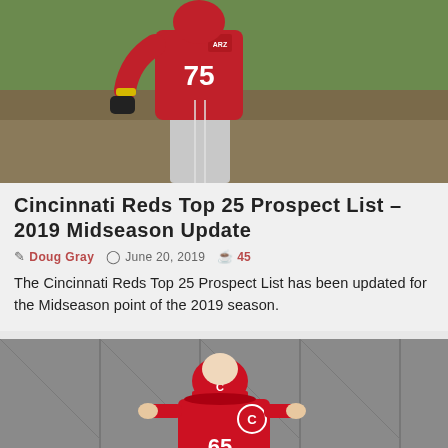[Figure (photo): Cincinnati Reds baseball player wearing red jersey with number 75, viewed from behind, standing on a baseball field. The player is wearing gray pants and has a yellow wristband. Background shows green grass and brown dirt.]
Cincinnati Reds Top 25 Prospect List – 2019 Midseason Update
Doug Gray  June 20, 2019  45
The Cincinnati Reds Top 25 Prospect List has been updated for the Midseason point of the 2019 season.
[Figure (photo): Cincinnati Reds baseball player wearing red uniform with number 65 and the Reds logo, standing on a baseball field. The player is wearing a red cap with C logo. Background shows a fence.]